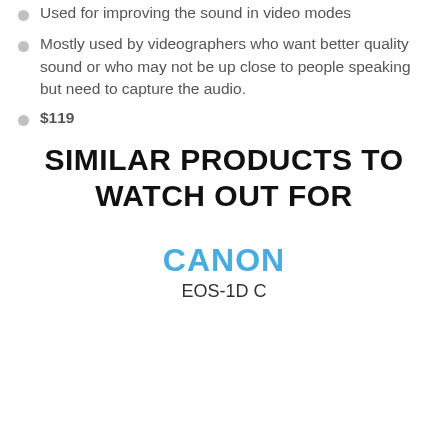Used for improving the sound in video modes
Mostly used by videographers who want better quality sound or who may not be up close to people speaking but need to capture the audio.
$119
SIMILAR PRODUCTS TO WATCH OUT FOR
CANON
EOS-1D C